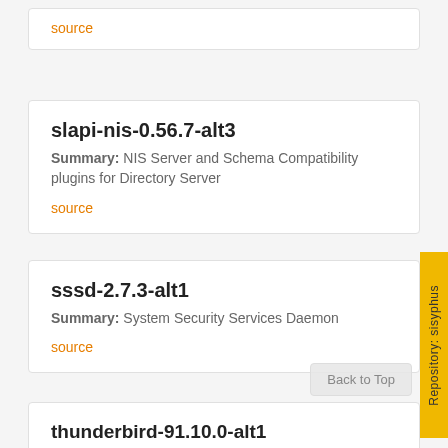source
slapi-nis-0.56.7-alt3
Summary: NIS Server and Schema Compatibility plugins for Directory Server
source
sssd-2.7.3-alt1
Summary: System Security Services Daemon
source
thunderbird-91.10.0-alt1
Summary: Thunderbird is Mozilla's e-mail client
source